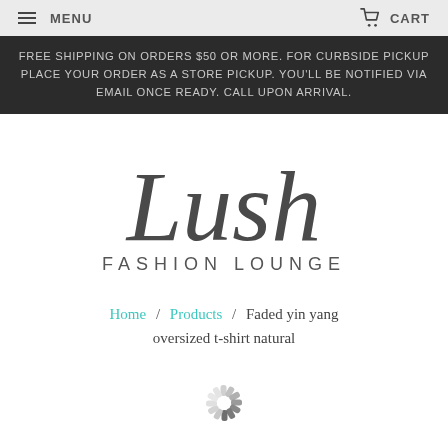MENU   CART
FREE SHIPPING ON ORDERS $50 OR MORE. FOR CURBSIDE PICKUP PLACE YOUR ORDER AS A STORE PICKUP. YOU'LL BE NOTIFIED VIA EMAIL ONCE READY. CALL UPON ARRIVAL.
[Figure (logo): Lush Fashion Lounge cursive script logo with FASHION LOUNGE text below]
Home / Products / Faded yin yang oversized t-shirt natural
[Figure (other): Loading spinner (circular grey segments indicating page loading)]